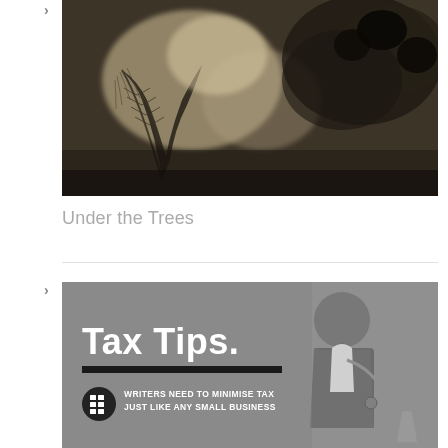[Figure (photo): Dark sepia/grayscale photograph of trees with light filtering through foliage, textured and atmospheric]
›
Under the Trees
[Figure (photo): Grayscale promotional image with text overlay reading 'Tax Tips.' with subtitle 'WRITERS NEED TO MINIMISE TAX JUST LIKE ANY SMALL BUSINESS' and a calculator icon]
›